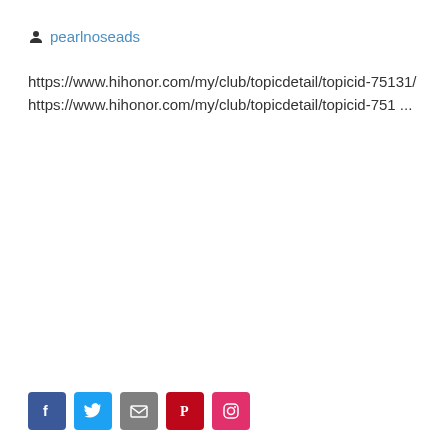pearlnoseads
https://www.hihonor.com/my/club/topicdetail/topicid-75131/
https://www.hihonor.com/my/club/topicdetail/topicid-751 ...
[Figure (other): Social media share buttons: Facebook (blue), Twitter (light blue), Email (grey), Pinterest (red), Instagram (pink/red)]